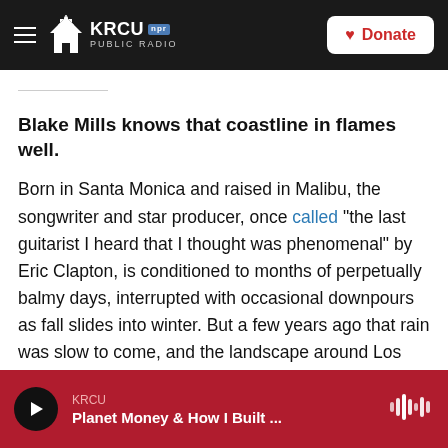KRCU NPR PUBLIC RADIO | Donate
Blake Mills knows that coastline in flames well.
Born in Santa Monica and raised in Malibu, the songwriter and star producer, once called "the last guitarist I heard that I thought was phenomenal" by Eric Clapton, is conditioned to months of perpetually balmy days, interrupted with occasional downpours as fall slides into winter. But a few years ago that rain was slow to come, and the landscape around Los Angeles felt like a tinderbox.
KRCU | Planet Money & How I Built ...